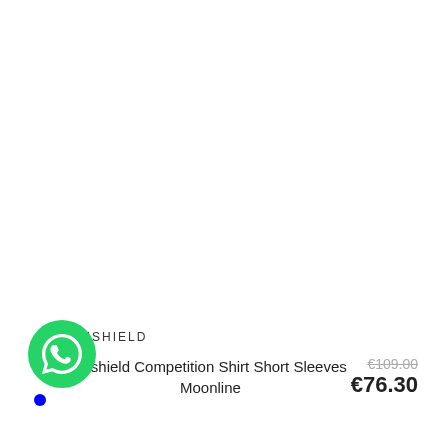SAMSHIELD
Samshield Competition Shirt Short Sleeves Moonline
€109.00  €76.30
[Figure (logo): Green WhatsApp circular button with white phone icon and blue notification dot]